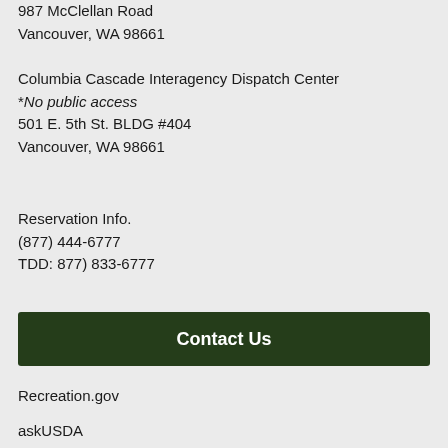987 McClellan Road
Vancouver, WA 98661
Columbia Cascade Interagency Dispatch Center
*No public access
501 E. 5th St. BLDG #404
Vancouver, WA 98661
Reservation Info.
(877) 444-6777
TDD: 877) 833-6777
Contact Us
Recreation.gov
askUSDA